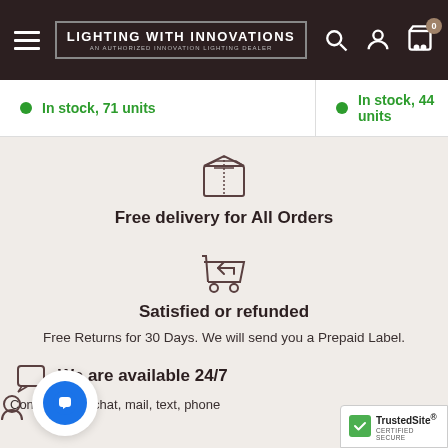Lighting With Innovations — An Authorized Innovation Lighting Dealer
In stock, 71 units
In stock, 44 units
[Figure (illustration): Box/package icon representing free delivery]
Free delivery for All Orders
[Figure (illustration): Shopping cart with return arrow icon]
Satisfied or refunded
Free Returns for 30 Days. We will send you a Prepaid Label.
[Figure (illustration): Person/support icon and chat bubble]
We are available 24/7
Contact us by chat, mail, text, phone
[Figure (logo): TrustedSite Certified Secure badge]